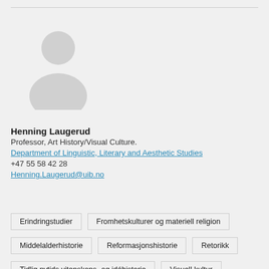[Figure (illustration): Default user avatar/silhouette icon in light grey, showing head and shoulders of a generic person]
Henning Laugerud
Professor, Art History/Visual Culture.
Department of Linguistic, Literary and Aesthetic Studies
+47 55 58 42 28
Henning.Laugerud@uib.no
Erindringstudier
Fromhetskulturer og materiell religion
Middelalderhistorie
Reformasjonshistorie
Retorikk
Tidlig nytids vitenskaps- og idéhistorie
Visuell kultur